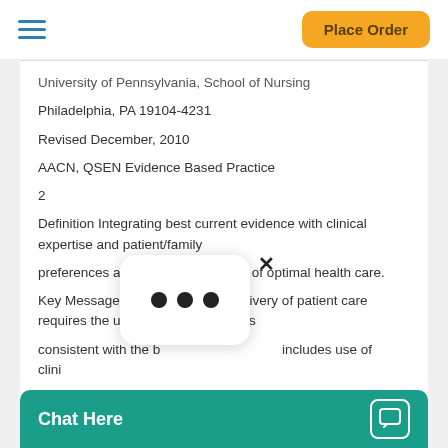Place Order
University of Pennsylvania, School of Nursing
Philadelphia, PA 19104-4231
Revised December, 2010
AACN, QSEN Evidence Based Practice
2
Definition Integrating best current evidence with clinical expertise and patient/family
preferences and values for delivery of optimal health care.
Key Message Safe, effective delivery of patient care requires the use of nursing practices
consistent with the best evidence, which includes use of clinical